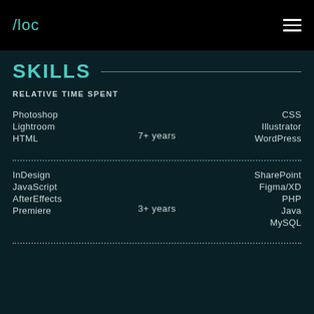/loc
SKILLS
RELATIVE TIME SPENT
Photoshop, Lightroom, HTML | 7+ years | CSS, Illustrator, WordPress
InDesign, JavaScript, AfterEffects, Premiere | 3+ years | SharePoint, Figma/XD, PHP, Java, MySQL